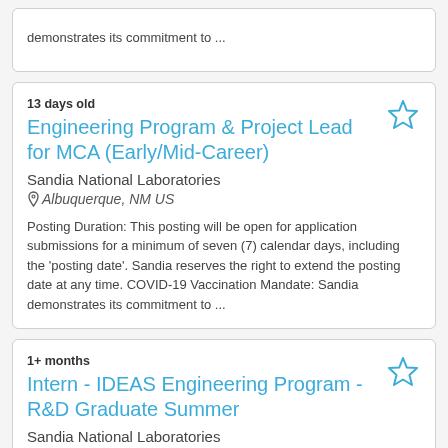demonstrates its commitment to ...
13 days old
Engineering Program & Project Lead for MCA (Early/Mid-Career)
Sandia National Laboratories
Albuquerque, NM US
Posting Duration: This posting will be open for application submissions for a minimum of seven (7) calendar days, including the ‘posting date’. Sandia reserves the right to extend the posting date at any time. COVID-19 Vaccination Mandate: Sandia demonstrates its commitment to ...
1+ months
Intern - IDEAS Engineering Program - R&D Graduate Summer
Sandia National Laboratories